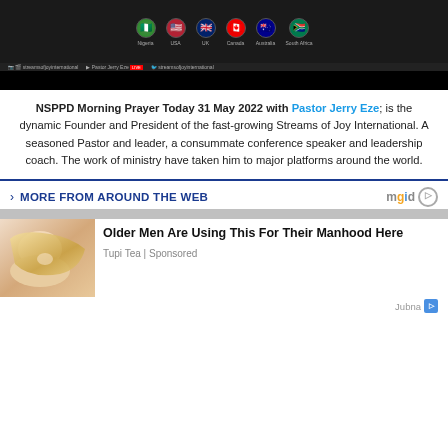[Figure (screenshot): A banner/header image showing streaming platform logos with country flags (Nigeria, USA, UK, Canada, Australia, South Africa) on a dark background with social media handles and YouTube links for Streams of Joy International and Pastor Jerry Eze]
NSPPD Morning Prayer Today 31 May 2022 with Pastor Jerry Eze; is the dynamic Founder and President of the fast-growing Streams of Joy International. A seasoned Pastor and leader, a consummate conference speaker and leadership coach. The work of ministry have taken him to major platforms around the world.
MORE FROM AROUND THE WEB
[Figure (photo): Advertisement thumbnail showing a woman lying down with blonde hair]
Older Men Are Using This For Their Manhood Here
Tupi Tea | Sponsored